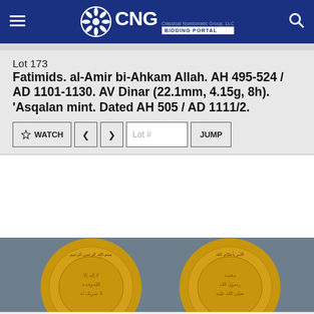CNG Classical Numismatic Group, LLC — BIDDING PORTAL
Lot 173
Fatimids. al-Amir bi-Ahkam Allah. AH 495-524 / AD 1101-1130. AV Dinar (22.1mm, 4.15g, 8h). 'Asqalan mint. Dated AH 505 / AD 1111/2.
[Figure (screenshot): Navigation controls: WATCH button with star icon, left arrow, right arrow, Lot # input field, and JUMP button]
[Figure (photo): Two gold Fatimid dinar coins photographed on a gray background, showing Arabic inscriptions arranged in concentric circles on both obverse and reverse]
Cookies help us deliver our services. By using our services, you agree to our use of cookies. DISMISS  Learn more.